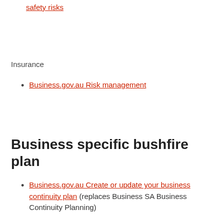safety risks
Insurance
Business.gov.au Risk management
Business specific bushfire plan
Business.gov.au Create or update your business continuity plan (replaces Business SA Business Continuity Planning)
Australian Council of Social Services Resilience